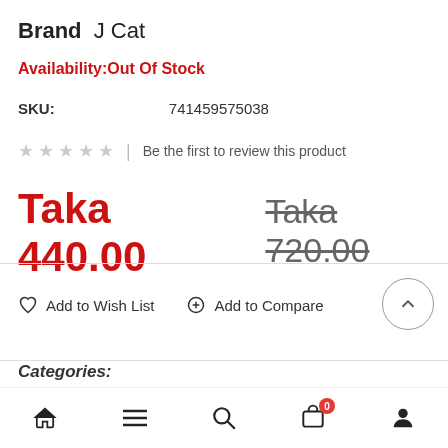Brand  J Cat
Availability:Out Of Stock
SKU: 741459575038
★★★★★  |  Be the first to review this product
Taka 440.00  Taka 720.00
♡ Add to Wish List    ○ Add to Compare
Categories:
Home  Menu  Search  Cart (0)  Account